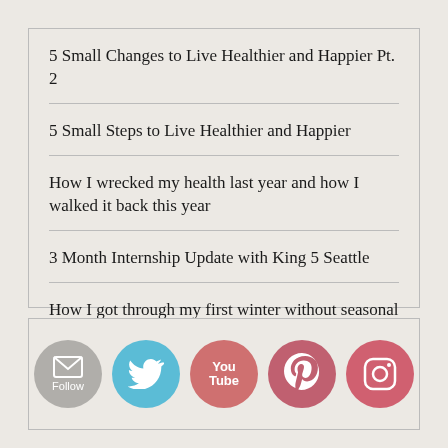5 Small Changes to Live Healthier and Happier Pt. 2
5 Small Steps to Live Healthier and Happier
How I wrecked my health last year and how I walked it back this year
3 Month Internship Update with King 5 Seattle
How I got through my first winter without seasonal depression
[Figure (infographic): Social media follow icons: Follow (email), Twitter, YouTube, Pinterest, Instagram]